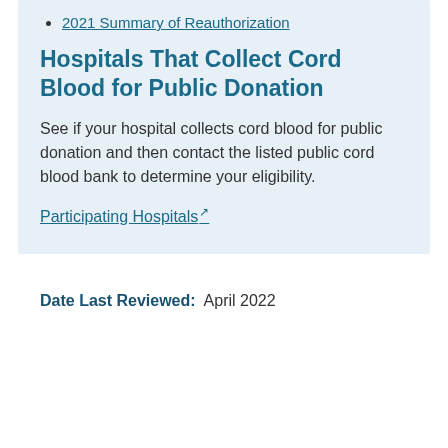2021 Summary of Reauthorization
Hospitals That Collect Cord Blood for Public Donation
See if your hospital collects cord blood for public donation and then contact the listed public cord blood bank to determine your eligibility.
Participating Hospitals
Date Last Reviewed: April 2022